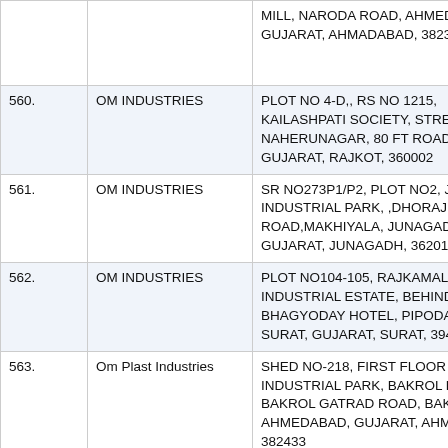| No. | Name | Address |
| --- | --- | --- |
|  |  | MILL, NARODA ROAD, AHMEDABAD, GUJARAT, AHMADABAD, 382325 |
| 560. | OM INDUSTRIES | PLOT NO 4-D,, RS NO 1215, KAILASHPATI SOCIETY, STREET NAHERUNAGAR, 80 FT ROAD, R GUJARAT, RAJKOT, 360002 |
| 561. | OM INDUSTRIES | SR NO273P1/P2, PLOT NO2, JAY INDUSTRIAL PARK, ,DHORAJI ROAD,MAKHIYALA, JUNAGADH, GUJARAT, JUNAGADH, 362011 |
| 562. | OM INDUSTRIES | PLOT NO104-105, RAJKAMAL INDUSTRIAL ESTATE, BEHIND BHAGYODAY HOTEL, PIPODAR A SURAT, GUJARAT, SURAT, 39411 |
| 563. | Om Plast Industries | SHED NO-218, FIRST FLOOR RU INDUSTRIAL PARK, BAKROL BUJ BAKROL GATRAD ROAD, BAKRO AHMEDABAD, GUJARAT, AHMAD 382433 |